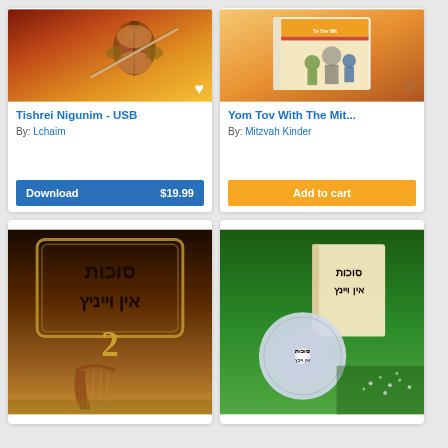[Figure (photo): Product image of Tishrei Nigunim USB - violin on golden/brown background]
Tishrei Nigunim - USB
By: Lchaim
Download  $19.99
[Figure (photo): Product image of Yom Tov With The Mitzvah Kinder book - illustrated children's book cover]
Yom Tov With The Mit...
By: Mitzvah Kinder
Add to cart
[Figure (photo): Product image - Sukkot Ein Vayinitz vol 2 - Hebrew text album cover with harp]
[Figure (photo): Product image - Sukkot Ein Vayinitz CD set with book and disk on green background]